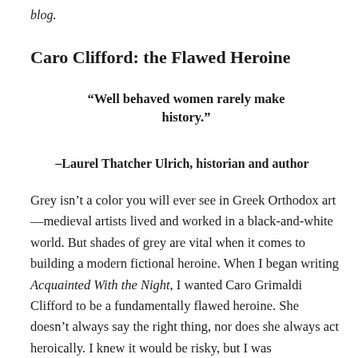blog.
Caro Clifford: the Flawed Heroine
“Well behaved women rarely make history.” –Laurel Thatcher Ulrich, historian and author
Grey isn’t a color you will ever see in Greek Orthodox art—medieval artists lived and worked in a black-and-white world. But shades of grey are vital when it comes to building a modern fictional heroine. When I began writing Acquainted With the Night, I wanted Caro Grimaldi Clifford to be a fundamentally flawed heroine. She doesn’t always say the right thing, nor does she always act heroically. I knew it would be risky, but I was